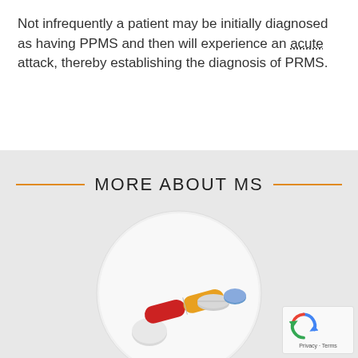Not infrequently a patient may be initially diagnosed as having PPMS and then will experience an acute attack, thereby establishing the diagnosis of PRMS.
MORE ABOUT MS
[Figure (photo): Circular photo showing assorted pills and capsules including a red and yellow capsule, white round tablets, and a blue pill, on a white background]
[Figure (other): reCAPTCHA badge showing recycling-arrow logo with text Privacy - Terms]